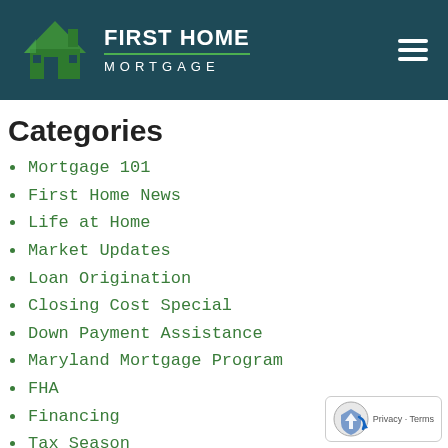[Figure (logo): First Home Mortgage logo with green house icon and teal header background, hamburger menu icon on right]
Categories
Mortgage 101
First Home News
Life at Home
Market Updates
Loan Origination
Closing Cost Special
Down Payment Assistance
Maryland Mortgage Program
FHA
Financing
Tax Season
Miscellaneous